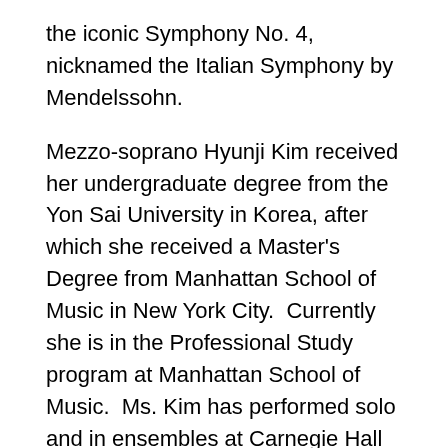the iconic Symphony No. 4, nicknamed the Italian Symphony by Mendelssohn.
Mezzo-soprano Hyunji Kim received her undergraduate degree from the Yon Sai University in Korea, after which she received a Master's Degree from Manhattan School of Music in New York City.  Currently she is in the Professional Study program at Manhattan School of Music.  Ms. Kim has performed solo and in ensembles at Carnegie Hall and Merkin Hall in New York City, as well as with the University of Korea.  Hyunji Kim is a recipient of the 2019 Bel Canto Institute Performance Award and the 2019 Bel Canto Institute Orchestral Performance Award.
Chinese tenor Yang Xu was selected to attend the Central Conservatory of Music's Top Innovative Talent Development Program.  Between 2013 and 2018 he